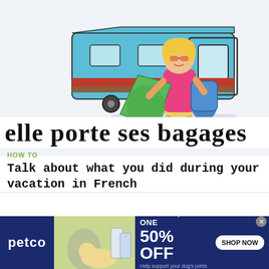[Figure (illustration): Cartoon illustration of a woman with blonde hair, sunglasses, pink top, carrying large green and blue bags, rushing off a teal/blue train. The train has red and brown stripes. A grey shadow is cast beneath her.]
elle porte ses bagages
HOW TO
Talk about what you did during your vacation in French
[Figure (other): Petco advertisement banner: 'BUY ONE, GET ONE 50% OFF - Help support your dog's joints with a premium supplement. SHOP NOW' with photo of woman and golden retriever dog, and supplement product image.]